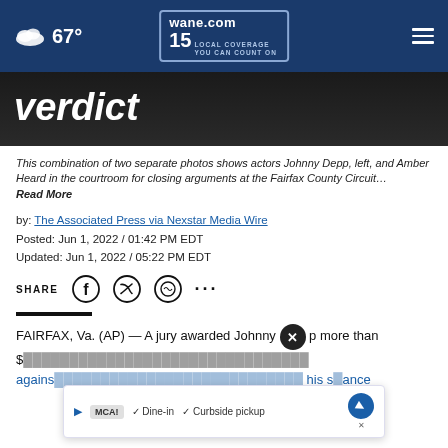67° wane.com 15 LOCAL COVERAGE YOU CAN COUNT ON
verdict
This combination of two separate photos shows actors Johnny Depp, left, and Amber Heard in the courtroom for closing arguments at the Fairfax County Circuit… Read More
by: The Associated Press via Nexstar Media Wire
Posted: Jun 1, 2022 / 01:42 PM EDT
Updated: Jun 1, 2022 / 05:22 PM EDT
SHARE
FAIRFAX, Va. (AP) — A jury awarded Johnny Depp more than $... against ex-wife Amber Heard, vindicating his stance